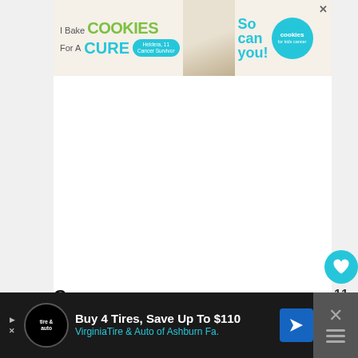[Figure (screenshot): Advertisement banner: 'I Bake COOKIES For A CURE' with child cancer survivor photo and 'So can you! cookies for kids cancer' branding]
Cons
[Figure (screenshot): Bottom advertisement bar: 'Buy 4 Tires, Save Up To $110 VirginiaTire & Auto of Ashburn Fa.' with tire logo and navigation arrow icon]